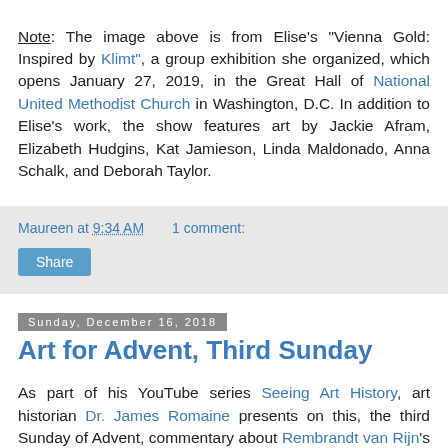Note: The image above is from Elise's "Vienna Gold: Inspired by Klimt", a group exhibition she organized, which opens January 27, 2019, in the Great Hall of National United Methodist Church in Washington, D.C. In addition to Elise's work, the show features art by Jackie Afram, Elizabeth Hudgins, Kat Jamieson, Linda Maldonado, Anna Schalk, and Deborah Taylor.
Maureen at 9:34 AM    1 comment:
Share
Sunday, December 16, 2018
Art for Advent, Third Sunday
As part of his YouTube series Seeing Art History, art historian Dr. James Romaine presents on this, the third Sunday of Advent, commentary about Rembrandt van Rijn's etching The Angel Appearing to the Shepherds (1634), which is in the Rosenwald Collection of the National Gallery of Art,